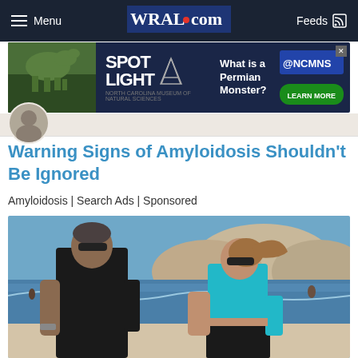Menu | WRAL.com | Feeds
[Figure (screenshot): WRAL.com advertisement banner for NCMNS Spotlight exhibit about Permian Monster, with dinosaur image on left and 'What is a Permian Monster? LEARN MORE' text on right]
Warning Signs of Amyloidosis Shouldn't Be Ignored
Amyloidosis | Search Ads | Sponsored
[Figure (photo): Two people walking on a beach — a muscular man in black t-shirt and sunglasses and a woman in a cyan/turquoise crop top and dark pants with sunglasses, with ocean and cliffs in background]